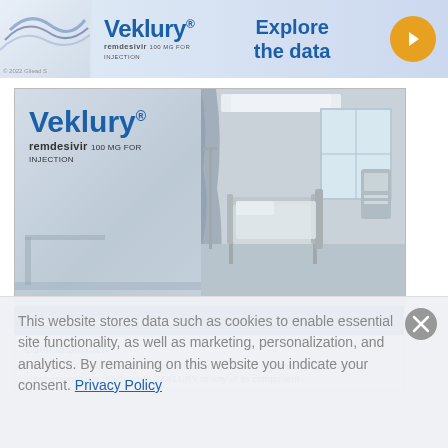[Figure (advertisement): Veklury (remdesivir 100 mg for injection) banner ad with 'Explore the data' call to action and gold circle arrow button, with Gilead Sciences copyright 2022]
[Figure (photo): Veklury remdesivir 100 mg for injection branded product advertisement showing hospital room with medical beds, curtains, and equipment]
Important Safety Information
Contraindication
VEKLURY is contraindicated in patients with a history of clinically significant hypersensitivity reactions to VEKLURY or any of its components.
This website stores data such as cookies to enable essential site functionality, as well as marketing, personalization, and analytics. By remaining on this website you indicate your consent. Privacy Policy